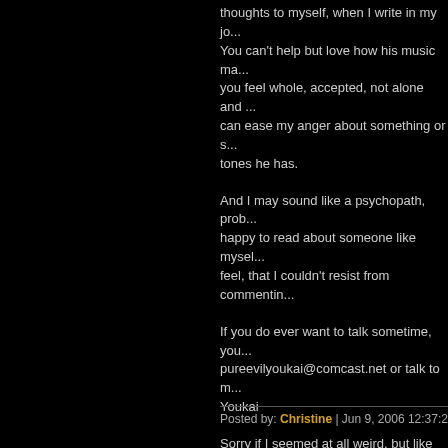thoughts to myself, when I write in my jo... You can't help but love how his music ma... you feel whole, accepted, not alone and ... can ease my anger about something or s... tones he has.
And I may sound like a psychopath, prob... happy to read about someone like mysel... feel, that I couldn't resist from commentin...
If you do ever want to talk sometime, you... pureevilyoukai@comcast.net or talk to m... Youkai
Sorry if I seemed at all weird, but like I've... stated, I was ecstatic to find another pers...
*~Christine~*
P.S. Think the red robe picture is bad?
http://i6.tinypic.com/125q9nc.jpg
Look at your own risk...
Posted by: Christine | Jun 9, 2006 12:37:26 PM